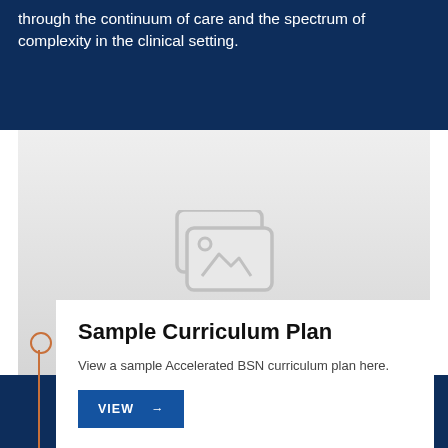through the continuum of care and the spectrum of complexity in the clinical setting.
[Figure (photo): Placeholder image area with a gray gradient background and image placeholder icon in the center.]
Sample Curriculum Plan
View a sample Accelerated BSN curriculum plan here.
VIEW →